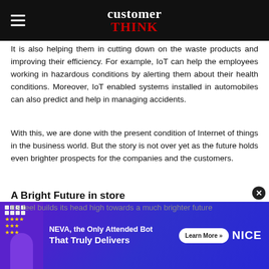customer THINK
It is also helping them in cutting down on the waste products and improving their efficiency. For example, IoT can help the employees working in hazardous conditions by alerting them about their health conditions. Moreover, IoT enabled systems installed in automobiles can also predict and help in managing accidents.
With this, we are done with the present condition of Internet of things in the business world. But the story is not over yet as the future holds even brighter prospects for the companies and the customers.
A Bright Future in store
Even the companies and the customers who have bought...
[Figure (infographic): Advertisement banner for NEVA bot by NICE. Purple/blue gradient background with a figure holding a checklist, text 'NEVA, the Only Attended Bot That Truly Delivers', a 'Learn More >>' button, and 'NICE' logo.]